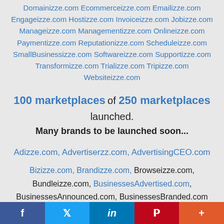Domainizze.com Ecommerceizze.com Emailizze.com Engageizze.com Hostizze.com Invoiceizze.com Jobizze.com Manageizze.com Managementizze.com Onlineizze.com Paymentizze.com Reputationizze.com Scheduleizze.com SmallBusinessizze.com Softwareizze.com Supportizze.com Transformizze.com Trializze.com Tripizze.com Websiteizze.com
100 marketplaces of 250 marketplaces launched. Many brands to be launched soon...
Adizze.com, Advertiserzz.com, AdvertisingCEO.com
Bizizze.com, Brandizze.com, Browseizze.com, Bundleizze.com, BusinessesAdvertised.com, BusinessesAnnounced.com, BusinessesBranded.com BusinessesBrowsed.com, BusinessesBundled.com, BusinessesCentralized.com, BusinessesCEO.com
f  Twitter  in  P  +